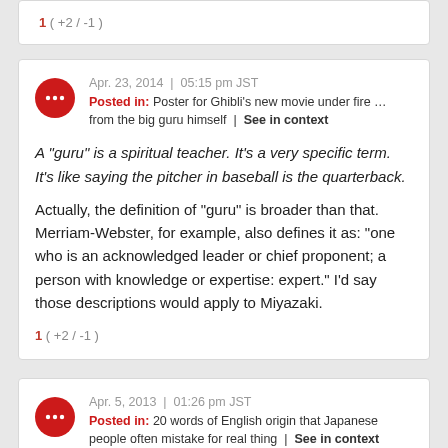1 ( +2 / -1 )
Apr. 23, 2014 | 05:15 pm JST
Posted in: Poster for Ghibli's new movie under fire … from the big guru himself | See in context
A "guru" is a spiritual teacher. It's a very specific term. It's like saying the pitcher in baseball is the quarterback.
Actually, the definition of "guru" is broader than that. Merriam-Webster, for example, also defines it as: "one who is an acknowledged leader or chief proponent; a person with knowledge or expertise: expert." I'd say those descriptions would apply to Miyazaki.
1 ( +2 / -1 )
Apr. 5, 2013 | 01:26 pm JST
Posted in: 20 words of English origin that Japanese people often mistake for real thing | See in context